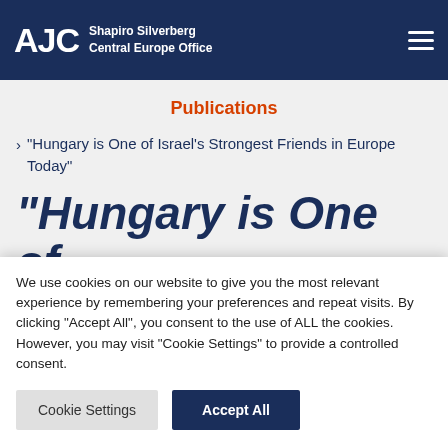AJC Shapiro Silverberg Central Europe Office
Publications
› “Hungary is One of Israel’s Strongest Friends in Europe Today”
“Hungary is One of Israel’s Strongest
We use cookies on our website to give you the most relevant experience by remembering your preferences and repeat visits. By clicking “Accept All”, you consent to the use of ALL the cookies. However, you may visit “Cookie Settings” to provide a controlled consent.